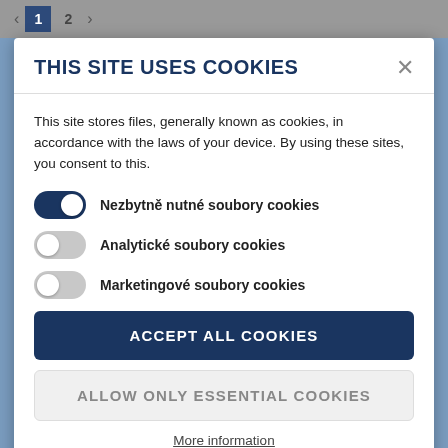< 1 2 >
THIS SITE USES COOKIES
This site stores files, generally known as cookies, in accordance with the laws of your device. By using these sites, you consent to this.
Nezbytně nutné soubory cookies
Analytické soubory cookies
Marketingové soubory cookies
ACCEPT ALL COOKIES
ALLOW ONLY ESSENTIAL COOKIES
More information